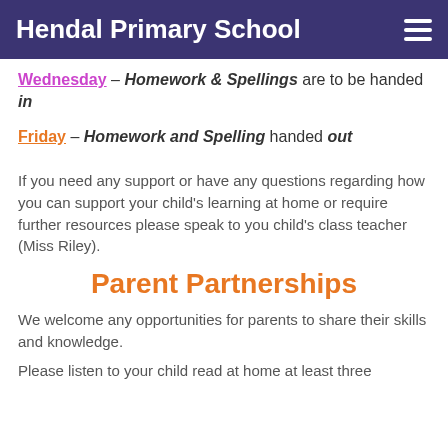Hendal Primary School
Wednesday – Homework & Spellings are to be handed in
Friday – Homework and Spelling handed out
If you need any support or have any questions regarding how you can support your child's learning at home or require further resources please speak to you child's class teacher (Miss Riley).
Parent Partnerships
We welcome any opportunities for parents to share their skills and knowledge.
Please listen to your child read at home at least three